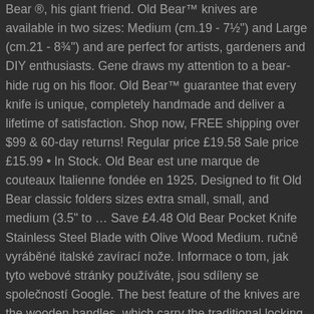Bear ®, his giant friend. Old Bear™ knives are available in two sizes: Medium (cm.19 - 7½") and Large (cm.21 - 8¾") and are perfect for artists, gardeners and DIY enthusiasts. Gene draws my attention to a bear-hide rug on his floor. Old Bear™ guarantee that every knife is unique, completely handmade and deliver a lifetime of satisfaction. Shop now, FREE shipping over $99 & 60-day returns! Regular price £19.58 Sale price £15.99 • In Stock. Old Bear est une marque de couteaux Italienne fondée en 1925. Designed to fit Old Bear classic folders sizes extra small, small, and medium (3.5" to … Save £4.48 Old Bear Pocket Knife Stainless Steel Blade with Olive Wood Medium. ručně vyráběné italské zavírací nože. Informace o tom, jak tyto webové stránky používáte, jsou sdíleny se společností Google. The best feature of the knives are the wooden handles, which carry the traditional locking mechanism. No matter if you're a camper, hiker, outdoorsman, hunter, handyman or hobbyist a high grade knife is really a standard tool for everybody and a must have. La coutellerie fabrique des couteaux de manière artisanale par des artisans qualifiés. Make 4 interest-free payments of $11.24 fortnightly and receive your order now. It marks and celebrates the 90 th anniversary of our company (1925-2015), and intentionally involves a production process engaging high levels of manual production.